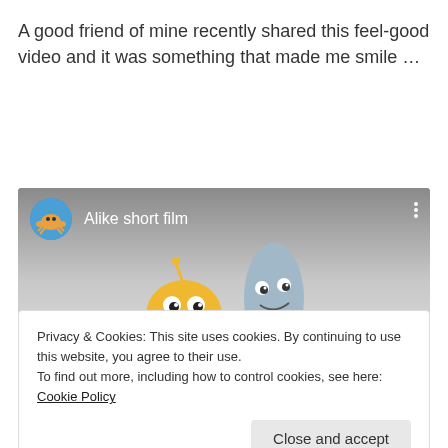A good friend of mine recently shared this feel-good video and it was something that made me smile …
[Figure (screenshot): YouTube-style video card showing 'Alike short film' with a channel icon (crab character on blue circle), title text, three-dot menu, and cartoon characters (yellow blob and grey shark) visible below]
Privacy & Cookies: This site uses cookies. By continuing to use this website, you agree to their use.
To find out more, including how to control cookies, see here: Cookie Policy
Close and accept